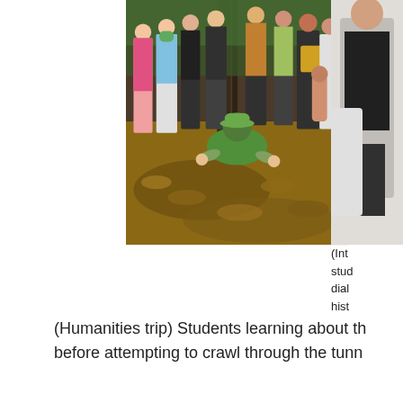[Figure (photo): Students gathered in a forested area watching a guide or student in a green t-shirt and hat crouching down into a tunnel entrance covered with dry leaves, while holding the ground with both hands. Multiple students of various ages surround the tunnel entrance.]
[Figure (photo): Partial view of another photo on the right side showing students indoors, partially cropped.]
(Int
stud
dial
hist
(Humanities trip) Students learning about th before attempting to crawl through the tunn